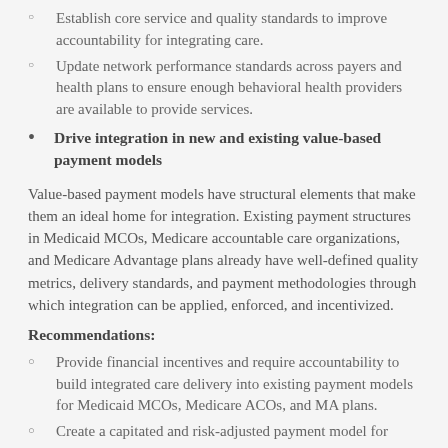Establish core service and quality standards to improve accountability for integrating care.
Update network performance standards across payers and health plans to ensure enough behavioral health providers are available to provide services.
Drive integration in new and existing value-based payment models
Value-based payment models have structural elements that make them an ideal home for integration. Existing payment structures in Medicaid MCOs, Medicare accountable care organizations, and Medicare Advantage plans already have well-defined quality metrics, delivery standards, and payment methodologies through which integration can be applied, enforced, and incentivized.
Recommendations:
Provide financial incentives and require accountability to build integrated care delivery into existing payment models for Medicaid MCOs, Medicare ACOs, and MA plans.
Create a capitated and risk-adjusted payment model for